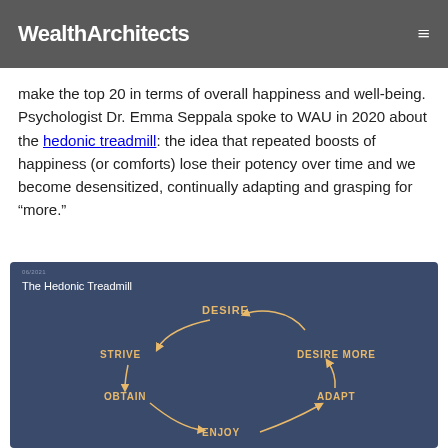WealthArchitects
make the top 20 in terms of overall happiness and well-being. Psychologist Dr. Emma Seppala spoke to WAU in 2020 about the hedonic treadmill: the idea that repeated boosts of happiness (or comforts) lose their potency over time and we become desensitized, continually adapting and grasping for “more.”
[Figure (flowchart): Circular diagram titled 'The Hedonic Treadmill' showing a cycle: DESIRE → DESIRE MORE → ADAPT → ENJOY → OBTAIN → STRIVE → back to DESIRE. All labels in yellow handwritten style on dark navy background.]